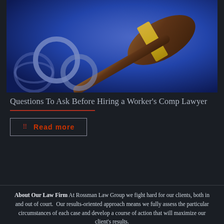[Figure (photo): Photo of a wooden judge's gavel with gold band and handcuffs on a blue background, suggesting legal/law enforcement themes]
Questions To Ask Before Hiring a Worker's Comp Lawyer
Read more
About Our Law Firm At Rossman Law Group we fight hard for our clients, both in and out of court. Our results-oriented approach means we fully assess the particular circumstances of each case and develop a course of action that will maximize our client's results.
The information provided in this website does not constitute legal advice and is not a guarantee, warranty or prediction regarding the outcome of any legal matter.